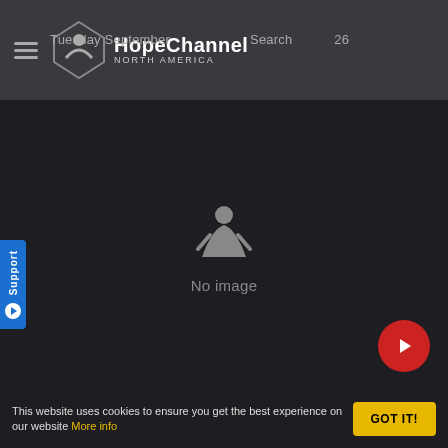[Figure (screenshot): Hope Channel North America website screenshot showing navigation bar with hamburger menu and logo, dark video player area with 'No image' placeholder, a date panel showing 'SEPTEMBER 17, 2020', a blank content panel, and a cookie consent banner at the bottom with a 'GOT IT!' button.]
HopeChannel NORTH AMERICA
Tuesday September ... Search ... 26
No image
Support
SEPTEMBER 17, 2020
This website uses cookies to ensure you get the best experience on our website More info
GOT IT!